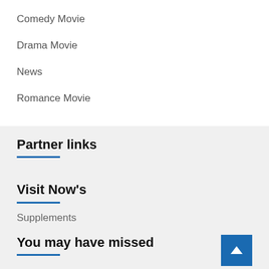Comedy Movie
Drama Movie
News
Romance Movie
Partner links
Visit Now's
Supplements
You may have missed